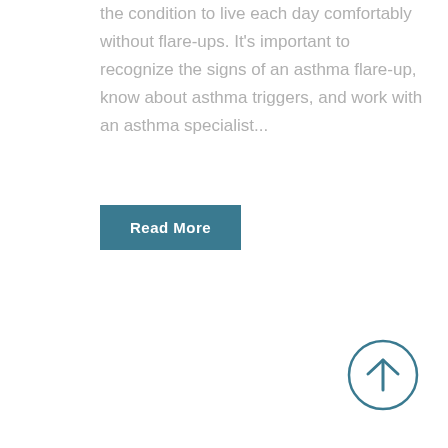the condition to live each day comfortably without flare-ups. It's important to recognize the signs of an asthma flare-up, know about asthma triggers, and work with an asthma specialist...
Read More
[Figure (other): Circular scroll-to-top button with an upward arrow icon, teal/dark cyan border and arrow on white background]